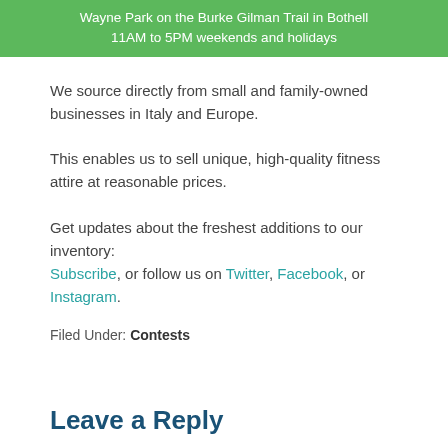Wayne Park on the Burke Gilman Trail in Bothell
11AM to 5PM weekends and holidays
We source directly from small and family-owned businesses in Italy and Europe.
This enables us to sell unique, high-quality fitness attire at reasonable prices.
Get updates about the freshest additions to our inventory: Subscribe, or follow us on Twitter, Facebook, or Instagram.
Filed Under: Contests
Leave a Reply